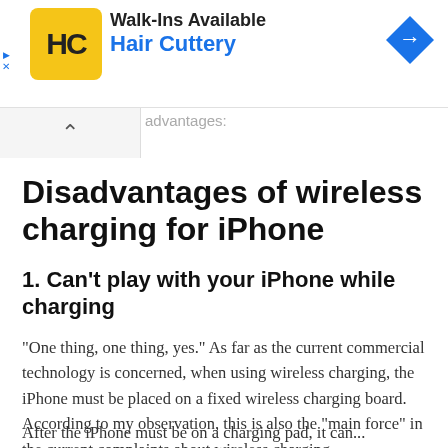[Figure (other): Hair Cuttery advertisement banner with yellow HC logo, 'Walk-Ins Available' text, 'Hair Cuttery' in blue, and a blue diamond navigation arrow icon on the right]
advantages:
Disadvantages of wireless charging for iPhone
1. Can't play with your iPhone while charging
“One thing, one thing, yes.” As far as the current commercial technology is concerned, when using wireless charging, the iPhone must be placed on a fixed wireless charging board. According to my observation, this is also the “main force” in the current complaints about wireless charging.